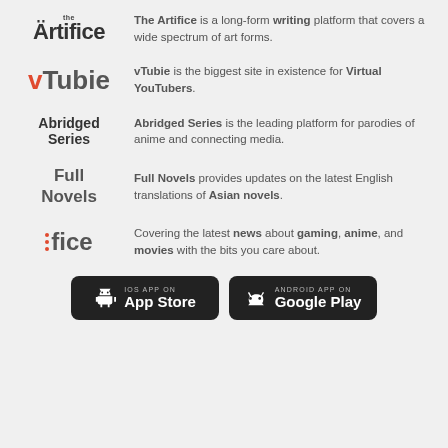[Figure (logo): The Artifice logo - text logo with 'the' small above 'Artifice' in bold dark font]
The Artifice is a long-form writing platform that covers a wide spectrum of art forms.
[Figure (logo): vTubie logo - 'v' in red/orange, 'Tubie' in gray]
vTubie is the biggest site in existence for Virtual YouTubers.
[Figure (logo): Abridged Series logo - bold black text on two lines]
Abridged Series is the leading platform for parodies of anime and connecting media.
[Figure (logo): Full Novels logo - bold gray text on two lines]
Full Novels provides updates on the latest English translations of Asian novels.
[Figure (logo): fice logo - three red dots followed by 'fice' in bold gray]
Covering the latest news about gaming, anime, and movies with the bits you care about.
[Figure (logo): iOS App Store button - dark rounded rectangle with Apple icon and 'iOS APP ON App Store']
[Figure (logo): Android App on Google Play button - dark rounded rectangle with Android icon and 'ANDROID APP ON Google Play']